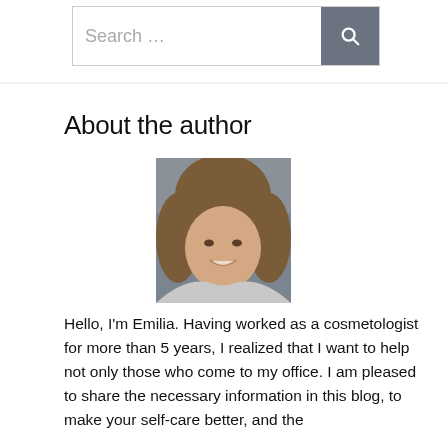[Figure (screenshot): Search bar with text 'Search ...' and a dark gray search button with magnifying glass icon]
About the author
[Figure (photo): Headshot of a smiling woman with long wavy brown hair, light skin, against a blurred indoor background]
Hello, I'm Emilia. Having worked as a cosmetologist for more than 5 years, I realized that I want to help not only those who come to my office. I am pleased to share the necessary information in this blog, to make your self-care better, and the